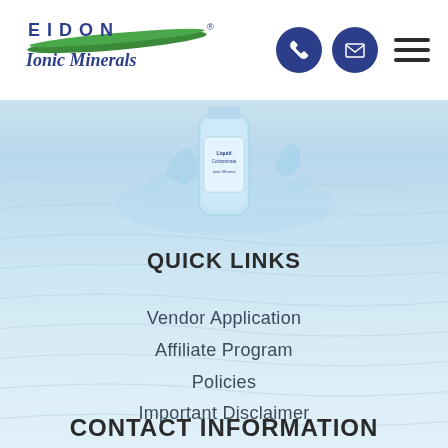[Figure (logo): Eidon Ionic Minerals logo with green leaf graphic and dark blue text]
[Figure (photo): Product bottle submerged in water with ripple effects, light blue water background]
QUICK LINKS
Vendor Application
Affiliate Program
Policies
Important Disclaimer
CONTACT INFORMATION